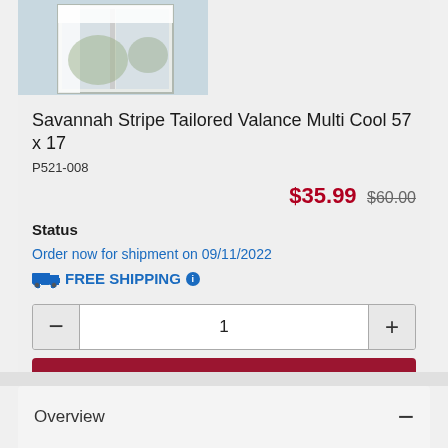[Figure (photo): Product photo showing a window with white curtain/valance]
Savannah Stripe Tailored Valance Multi Cool 57 x 17
P521-008
$35.99 $60.00
Status
Order now for shipment on 09/11/2022
FREE SHIPPING
1
+ Add to Cart
Overview